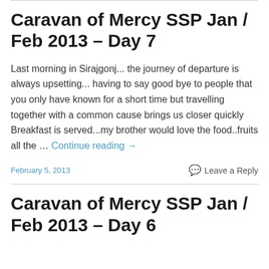Caravan of Mercy SSP Jan / Feb 2013 – Day 7
Last morning in Sirajgonj... the journey of departure is always upsetting... having to say good bye to people that you only have known for a short time but travelling together with a common cause brings us closer quickly Breakfast is served...my brother would love the food..fruits all the … Continue reading →
February 5, 2013    Leave a Reply
Caravan of Mercy SSP Jan / Feb 2013 – Day 6